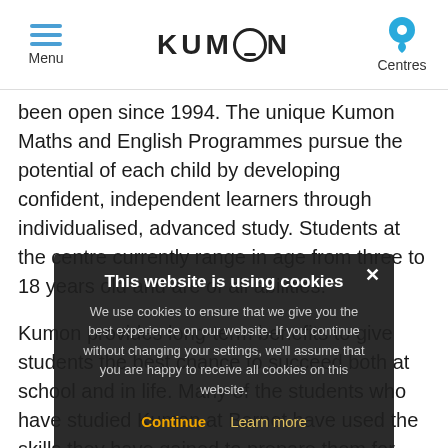Menu | KUMON | Centres
been open since 1994. The unique Kumon Maths and English Programmes pursue the potential of each child by developing confident, independent learners through individualised, advanced study. Students at the centre currently range in age from three to 18 years old and are of all abilities.
Kumon provides long-term benefits to give students the best chance to succeed both at school and in life. Many of the students who have studied Kumon at Barnet have used the skills they have gained to prepare them for entrance to local schools, achieve good GCSE and A level results and gain entrance to the university of their choice. Other benefits include improvements in concentration, confidence and stamina.
Kumon should not be confused with a tutoring provider as, rather than 'teaching' students, we encourage them to become independent learners who confident in their own abilities and able to face unfamiliar work
[Figure (other): Cookie consent popup overlay with dark background. Title: 'This website is using cookies'. Body text: 'We use cookies to ensure that we give you the best experience on our website. If you continue without changing your settings, we’ll assume that you are happy to receive all cookies on this website.' Buttons: 'Continue' (gold) and 'Learn more' (gold/yellow). X close button top right.]